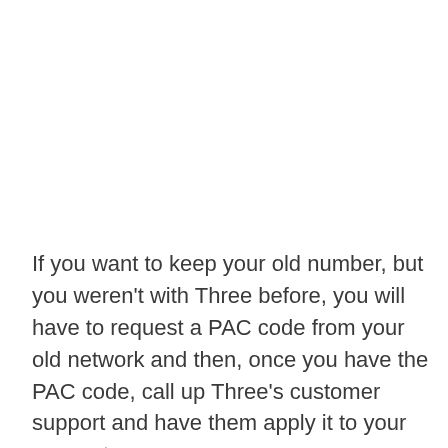If you want to keep your old number, but you weren't with Three before, you will have to request a PAC code from your old network and then, once you have the PAC code, call up Three's customer support and have them apply it to your account. Again, this process doesn't take long – no more than 10 minutes, once you have the PAC code.